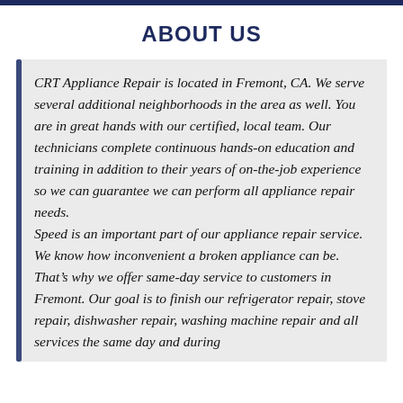ABOUT US
CRT Appliance Repair is located in Fremont, CA. We serve several additional neighborhoods in the area as well. You are in great hands with our certified, local team. Our technicians complete continuous hands-on education and training in addition to their years of on-the-job experience so we can guarantee we can perform all appliance repair needs.
Speed is an important part of our appliance repair service. We know how inconvenient a broken appliance can be. That’s why we offer same-day service to customers in Fremont. Our goal is to finish our refrigerator repair, stove repair, dishwasher repair, washing machine repair and all services the same day and during